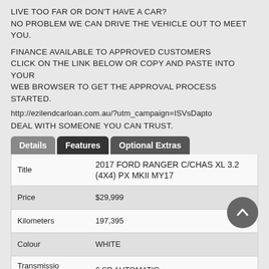LIVE TOO FAR OR DON'T HAVE A CAR?
NO PROBLEM WE CAN DRIVE THE VEHICLE OUT TO MEET YOU.
FINANCE AVAILABLE TO APPROVED CUSTOMERS
CLICK ON THE LINK BELOW OR COPY AND PASTE INTO YOUR WEB BROWSER TO GET THE APPROVAL PROCESS STARTED.
http://ezilendcarloan.com.au/?utm_campaign=ISVsDapto
DEAL WITH SOMEONE YOU CAN TRUST.
| Field | Value |
| --- | --- |
| Title | 2017 FORD RANGER C/CHAS XL 3.2 (4X4) PX MKII MY17 |
| Price | $29,999 |
| Kilometers | 197,395 |
| Colour | WHITE |
| Transmission | 6 SP AUTOMATIC |